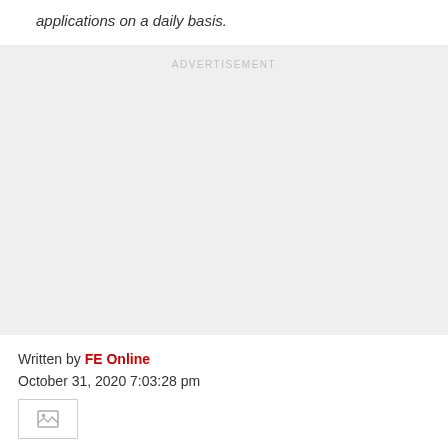applications on a daily basis.
[Figure (other): Advertisement placeholder box with label ADVERTISEMENT]
Written by FE Online
October 31, 2020 7:03:28 pm
[Figure (photo): Broken image placeholder icon]